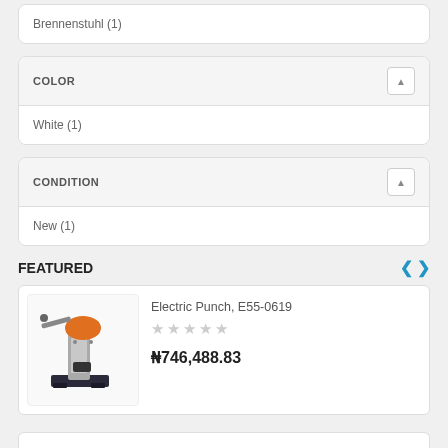Brennenstuhl (1)
COLOR
White (1)
CONDITION
New (1)
FEATURED
[Figure (photo): Electric Punch E55-0619 product image showing an industrial punch tool with orange and metal components on a dark base]
Electric Punch, E55-0619
★★★★★
₦746,488.83